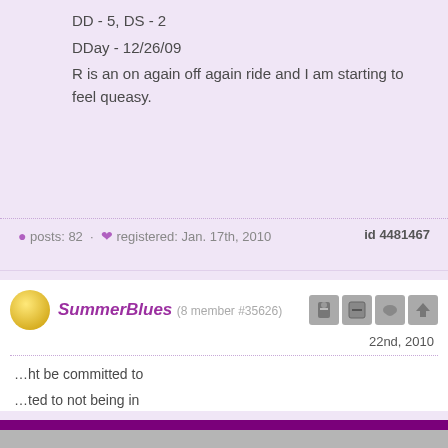DD - 5, DS - 2
DDay - 12/26/09
R is an on again off again ride and I am starting to feel queasy.
posts: 82  ·  registered: Jan. 17th, 2010
id 4481467
SummerBlues (8 member #35626)
22nd, 2010
ht be committed to
ted to not being in
Cookies on SurvivingInfidelity.com®
SurvivingInfidelity.com® uses cookies to enhance your visit to our website. This is a requirement for participants to login, post and use other features. Visitors may opt out, but the website will be less functional for you.
accept
decline
Policy